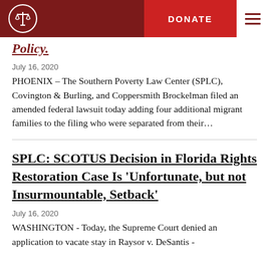DONATE
Policy.
July 16, 2020
PHOENIX – The Southern Poverty Law Center (SPLC), Covington & Burling, and Coppersmith Brockelman filed an amended federal lawsuit today adding four additional migrant families to the filing who were separated from their…
SPLC: SCOTUS Decision in Florida Rights Restoration Case Is 'Unfortunate, but not Insurmountable, Setback'
July 16, 2020
WASHINGTON - Today, the Supreme Court denied an application to vacate stay in Raysor v. DeSantis -